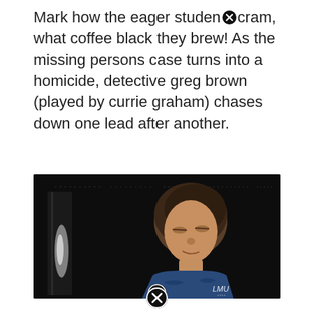Mark how the eager student cram, what coffee black they brew! As the missing persons case turns into a homicide, detective greg brown (played by currie graham) chases down one lead after another.
[Figure (photo): Dark screenshot from a TV show or film showing a young man with medium-length brown hair wearing a blue patterned shirt over a white t-shirt, looking slightly downward. The background is very dark/black. A close/dismiss icon (circled X) appears at the bottom center of the image.]